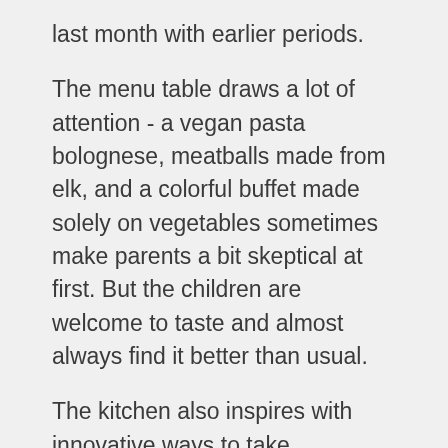last month with earlier periods.
The menu table draws a lot of attention - a vegan pasta bolognese, meatballs made from elk, and a colorful buffet made solely on vegetables sometimes make parents a bit skeptical at first. But the children are welcome to taste and almost always find it better than usual.
The kitchen also inspires with innovative ways to take advantage of parts of the raw materials that we usually throw away – it inspires to smarter cooking at home.
Let's focus on food waste and make a change